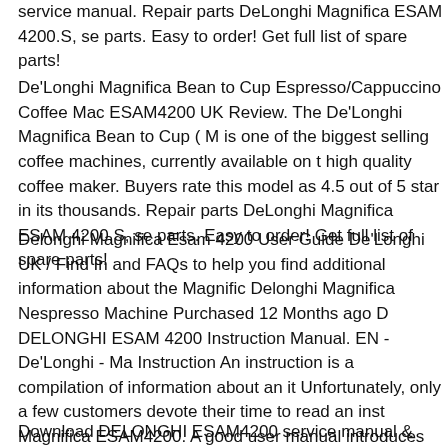service manual. Repair parts DeLonghi Magnifica ESAM 4200.S, se parts. Easy to order! Get full list of spare parts!
De'Longhi Magnifica Bean to Cup Espresso/Cappuccino Coffee Mac ESAM4200 UK Review. The De'Longhi Magnifica Bean to Cup ( M is one of the biggest selling coffee machines, currently available on t high quality coffee maker. Buyers rate this model as 4.5 out of 5 star in its thousands. Repair parts DeLonghi Magnifica ESAM 4200.S, se parts. Easy to order! Get full list of spare parts!
Delonghi Magnifica Esam 4200 User Guide De'Longhi UK / Find In and FAQs to help you find additional information about the Magnific Delonghi Magnifica Nespresso Machine Purchased 12 Months ago D DELONGHI ESAM 4200 Instruction Manual. EN - De'Longhi - Ma Instruction An instruction is a compilation of information about an it Unfortunately, only a few customers devote their time to read an inst Magnifica ESAM4200. A good user manual introduces us to a numb functionalities of the purchased item, and also helps us to avoid the f
Download DELONGHI ESAM4200 service manual & repair info fo